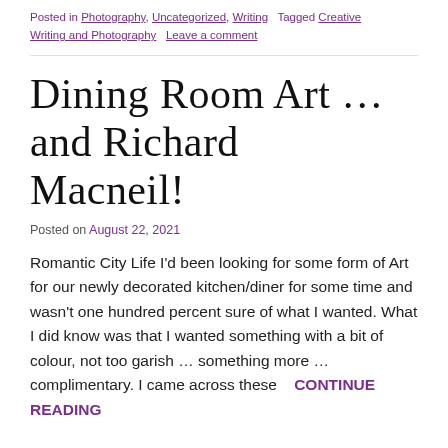Posted in Photography, Uncategorized, Writing   Tagged Creative Writing and Photography   Leave a comment
Dining Room Art … and Richard Macneil!
Posted on August 22, 2021
Romantic City Life I'd been looking for some form of Art for our newly decorated kitchen/diner for some time and wasn't one hundred percent sure of what I wanted. What I did know was that I wanted something with a bit of colour, not too garish … something more … complimentary. I came across these    CONTINUE READING